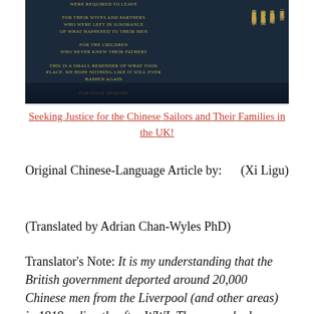[Figure (photo): Dark memorial plaque with gold text in English and Chinese characters commemorating Chinese sailors and their families, dated 23rd January 2006]
Seeking Justice for the Chinese Sailors and Their Families in the UK!
Original Chinese-Language Article by: (Xi Ligu)
(Translated by Adrian Chan-Wyles PhD)
Translator's Note: It is my understanding that the British government deported around 20,000 Chinese men from the Liverpool (and other areas) in 1919 – directly after WWI. These men had bravely fought on